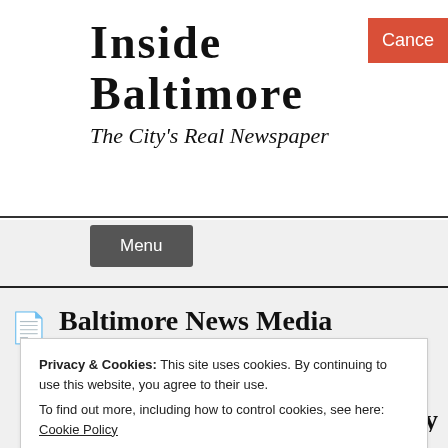Inside Baltimore
The City's Real Newspaper
Cancel
Menu
Baltimore News Media Embarrass Themselves With Spineless Coverage of “Abuse Enabler’s” Funeral – Stories by Tom Nugent
Privacy & Cookies: This site uses cookies. By continuing to use this website, you agree to their use.
To find out more, including how to control cookies, see here: Cookie Policy
Close and accept
Sexual Abuse of Baltimore Kids